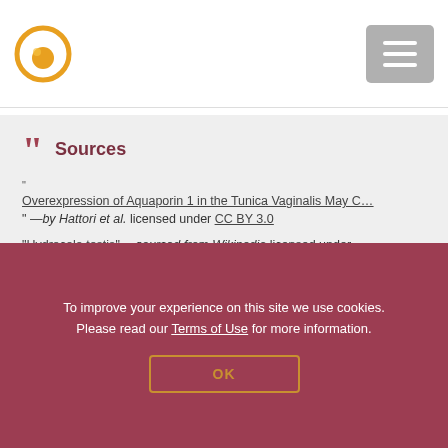[Logo] [Menu button]
Sources
“Overexpression of Aquaporin 1 in the Tunica Vaginalis May C…” —by Hattori et al. licensed under CC BY 3.0
“Hydrocele testis” —sourced from Wikipedia licensed under CC BY- SA 3.0
“Hydrocele” —sourced from Wikipedia licensed under
To improve your experience on this site we use cookies. Please read our Terms of Use for more information.